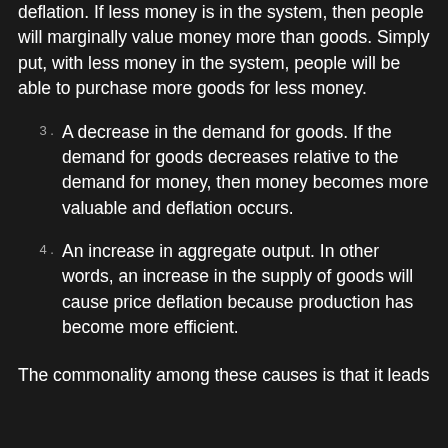deflation. If less money is in the system, then people will marginally value money more than goods. Simply put, with less money in the system, people will be able to purchase more goods for less money.
3. A decrease in the demand for goods. If the demand for goods decreases relative to the demand for money, then money becomes more valuable and deflation occurs.
4. An increase in aggregate output. In other words, an increase in the supply of goods will cause price deflation because production has become more efficient.
The commonality among these causes is that it leads